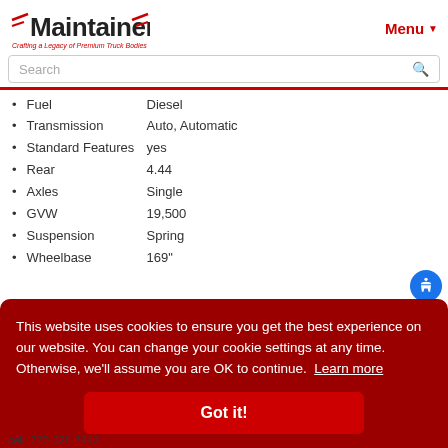[Figure (logo): Maintainer logo with tagline 'Crafting a Legacy of Premium Truck Bodies']
Fuel    Diesel
Transmission    Auto, Automatic
Standard Features    yes
Rear    4.44
Axles    Single
GVW    19,500
Suspension    Spring
Wheelbase    169"
This website uses cookies to ensure you get the best experience on our website. You can change your cookie settings at any time. Otherwise, we'll assume you are OK to continue.  Learn more
Got it!
cell: 770-328-7443